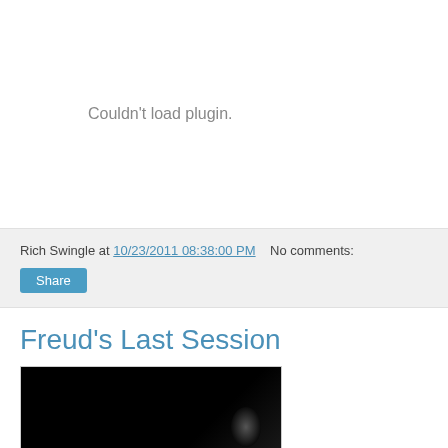Couldn't load plugin.
Rich Swingle at 10/23/2011 08:38:00 PM   No comments:
Share
Freud's Last Session
[Figure (photo): Dark image, likely a promotional still or poster for Freud's Last Session]